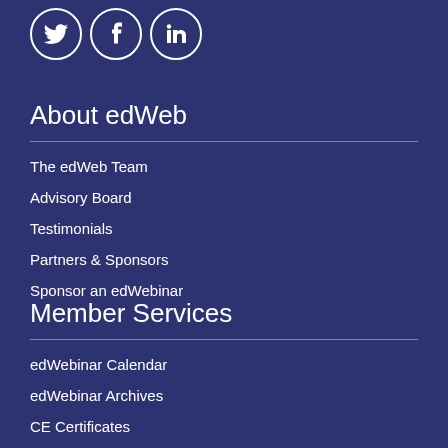[Figure (illustration): Three social media icons in white circles on dark blue background: Twitter bird, Facebook f, LinkedIn in]
About edWeb
The edWeb Team
Advisory Board
Testimonials
Partners & Sponsors
Sponsor an edWebinar
Member Services
edWebinar Calendar
edWebinar Archives
CE Certificates
Join a Community